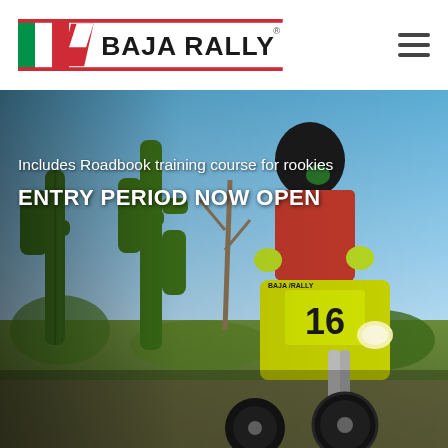Baja Rally
[Figure (photo): Motocross rider on a yellow dirt bike numbered 16 with Baja Rally branding, riding through a desert landscape with tall cacti and blue sky in the background.]
Includes Roadbook training course for rookies
ENTRY PERIOD NOW OPEN